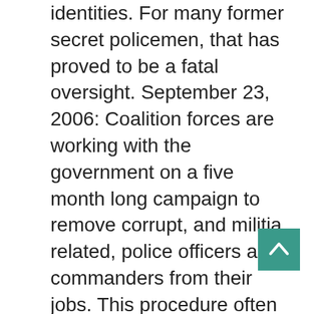identities. For many former secret policemen, that has proved to be a fatal oversight. September 23, 2006: Coalition forces are working with the government on a five month long campaign to remove corrupt, and militia related, police officers and commanders from their jobs. This procedure often requires the use of force, or at least the threat of force. Corruption in Iraq is an ancient and accepted (if not widely liked) practice, and the infiltration of the police by corrupt, or militia controlled, cops, is just another form of corruption. Teams of Iraqi police investigators and Coalition military police are setting up shop in police stations, to document who's naughty and who's not. Many corrupt police have already been identified, but more evidence is needed for many. The investigation teams will talk to locals and collect evidence of corrupt practices. Then the dismissals are made. Thousands of police have already been
[Figure (other): Back to top button — teal/green square with upward-pointing chevron arrow]